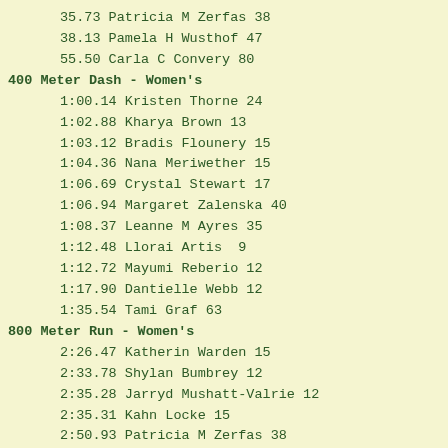35.73  Patricia M Zerfas 38
38.13  Pamela H Wusthof 47
55.50  Carla C Convery 80
400 Meter Dash - Women's
1:00.14  Kristen Thorne 24
1:02.88  Kharya Brown 13
1:03.12  Bradis Flounery 15
1:04.36  Nana Meriwether 15
1:06.69  Crystal Stewart 17
1:06.94  Margaret Zalenska 40
1:08.37  Leanne M Ayres 35
1:12.48  Llorai Artis  9
1:12.72  Mayumi Reberio 12
1:17.90  Dantielle Webb 12
1:35.54  Tami Graf 63
800 Meter Run - Women's
2:26.47  Katherin Warden 15
2:33.78  Shylan Bumbrey 12
2:35.28  Jarryd Mushatt-Valrie 12
2:35.31  Kahn Locke 15
2:50.93  Patricia M Zerfas 38
2:51.90  Dantielle Webb 12
2:52.73  Alli Lindsey 11
3,000 Meter Run - Women's
14:56.38  Tami Graf 63
1 Mile Run - Women's
5:44.80  Katherin Warden 15
6:11.20  E. Caterina Burton 14
6:24.20  Alli Lindsey 11
7:18.20  Tami Graf 63